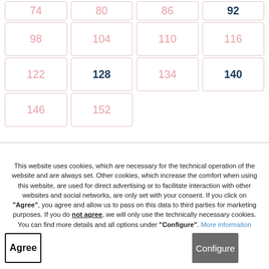| 74 | 80 | 86 | 92 |
| 98 | 104 | 110 | 116 |
| 122 | 128 | 134 | 140 |
| 146 | 152 |  |  |
This website uses cookies, which are necessary for the technical operation of the website and are always set. Other cookies, which increase the comfort when using this website, are used for direct advertising or to facilitate interaction with other websites and social networks, are only set with your consent. If you click on "Agree", you agree and allow us to pass on this data to third parties for marketing purposes. If you do not agree, we will only use the technically necessary cookies. You can find more details and all options under "Configure". More information
Agree
Configure